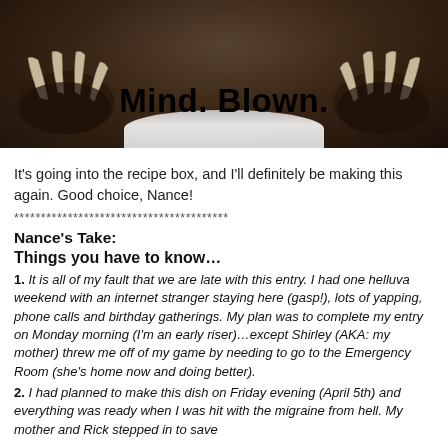[Figure (photo): Photo of an animal (bear or similar) lying on its back showing its paws/claws, with text 'Mind. Blown.' overlaid in large bold black font on a white/light background area in the center.]
It's going into the recipe box, and I'll definitely be making this again. Good choice, Nance!
****************************************
Nance's Take:
Things you have to know...
1. It is all of my fault that we are late with this entry.  I had one helluva weekend with an internet stranger staying here (gasp!), lots of yapping, phone calls and birthday gatherings. My plan was to complete my entry on Monday morning (I'm an early riser)…except Shirley (AKA: my mother) threw me off of my game by needing to go to the Emergency Room (she's home now and doing better).
2. I had planned to make this dish on Friday evening (April 5th) and everything was ready when I was hit with the migraine from hell.  My mother and Rick stepped in to save